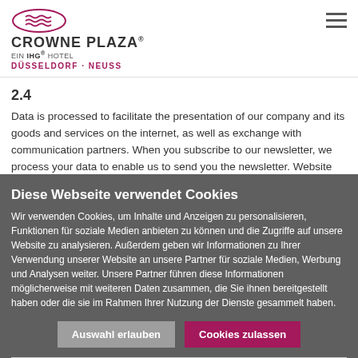[Figure (logo): Crowne Plaza logo with IHG hotel branding and Düsseldorf-Neuss subtitle]
Data is processed to facilitate the presentation of our company and its goods and services on the internet, as well as exchange with communication partners. When you subscribe to our newsletter, we process your data to enable us to send you the newsletter. Website
Diese Webseite verwendet Cookies
Wir verwenden Cookies, um Inhalte und Anzeigen zu personalisieren, Funktionen für soziale Medien anbieten zu können und die Zugriffe auf unsere Website zu analysieren. Außerdem geben wir Informationen zu Ihrer Verwendung unserer Website an unsere Partner für soziale Medien, Werbung und Analysen weiter. Unsere Partner führen diese Informationen möglicherweise mit weiteren Daten zusammen, die Sie ihnen bereitgestellt haben oder die sie im Rahmen Ihrer Nutzung der Dienste gesammelt haben.
Auswahl erlauben | Cookies zulassen
Notwendig | Präferenzen | Statistiken | Marketing | Details zeigen